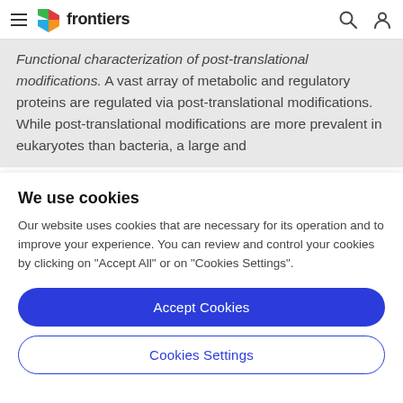frontiers
Functional characterization of post-translational modifications. A vast array of metabolic and regulatory proteins are regulated via post-translational modifications. While post-translational modifications are more prevalent in eukaryotes than bacteria, a large and
We use cookies
Our website uses cookies that are necessary for its operation and to improve your experience. You can review and control your cookies by clicking on "Accept All" or on "Cookies Settings".
Accept Cookies
Cookies Settings